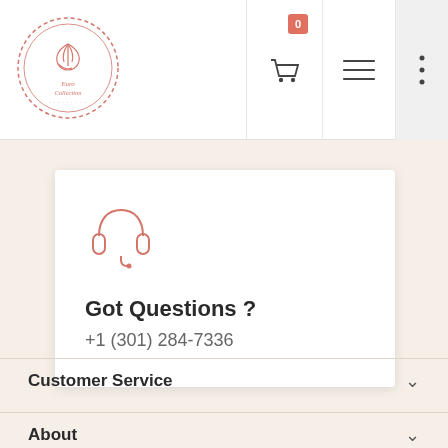Euro Collection logo, cart icon with badge 0, hamburger menu, more options
[Figure (logo): Euro Collection circular logo with bird/feather motif, salmon/pink outline style]
[Figure (illustration): Headset/customer support icon in salmon/coral outline style]
Got Questions ?
+1 (301) 284-7336
Customer Service
About